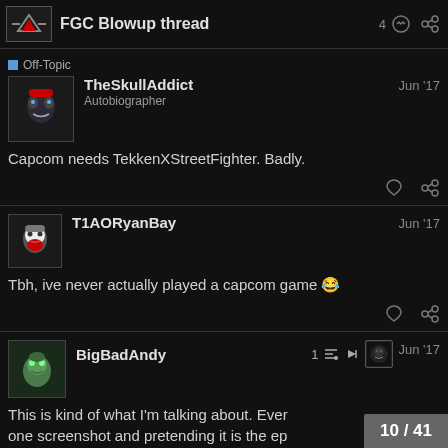FGC Blowup thread
TheSkullAddict
Autobiographer
Jun '17
Capcom needs TekkenXStreetFighter. Badly.
T1AORyanBay
Jun '17
Tbh, ive never actually played a capcom game 😂
BigBadAndy
Jun '17
This is kind of what I'm talking about. Ever one screenshot and pretending it is the ep
10 / 41